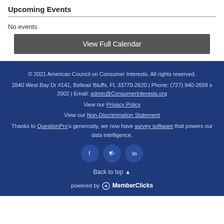Upcoming Events
No events
View Full Calendar
© 2021 American Council on Consumer Interests. All rights reserved. 2840 West Bay Dr #141, Belleair Bluffs, FL 33770-2620 | Phone: (727) 940-2658 x 2002  | Email: admin@ConsumerInterests.org
View our Privacy Policy
View our Non-Discrimination Statement
Thanks to QuestionPro's generosity, we now have survey software that powers our data intelligence.
Back to top
powered by MemberClicks